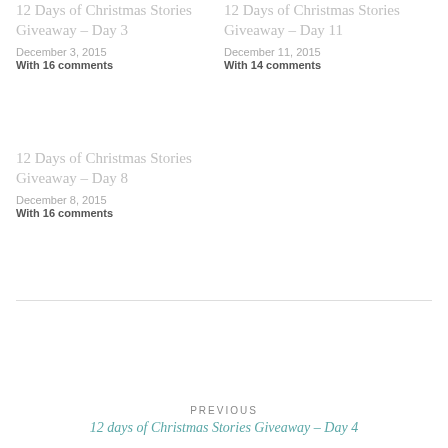12 Days of Christmas Stories Giveaway – Day 3
December 3, 2015
With 16 comments
12 Days of Christmas Stories Giveaway – Day 11
December 11, 2015
With 14 comments
12 Days of Christmas Stories Giveaway – Day 8
December 8, 2015
With 16 comments
PREVIOUS
12 days of Christmas Stories Giveaway – Day 4